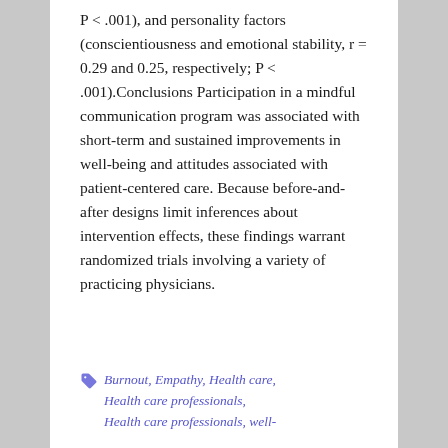P < .001), and personality factors (conscientiousness and emotional stability, r = 0.29 and 0.25, respectively; P < .001).Conclusions Participation in a mindful communication program was associated with short-term and sustained improvements in well-being and attitudes associated with patient-centered care. Because before-and-after designs limit inferences about intervention effects, these findings warrant randomized trials involving a variety of practicing physicians.
Burnout, Empathy, Health care, Health care professionals, Health care professionals, well-